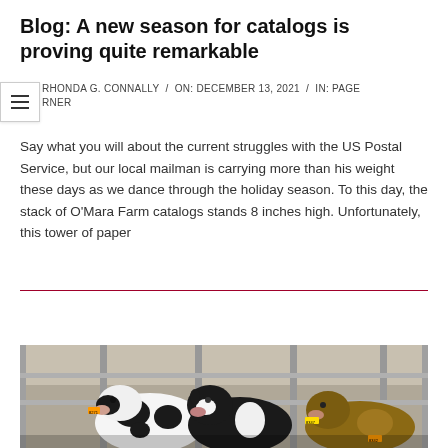Blog: A new season for catalogs is proving quite remarkable
RHONDA G. CONNALLY  /  ON: DECEMBER 13, 2021  /  IN: PAGE TURNER
Say what you will about the current struggles with the US Postal Service, but our local mailman is carrying more than his weight these days as we dance through the holiday season. To this day, the stack of O'Mara Farm catalogs stands 8 inches high. Unfortunately, this tower of paper
READ MORE →
[Figure (photo): Black and white dairy cows behind metal gate bars in a barn setting, with ear tags visible including numbers 8271 and 8347]